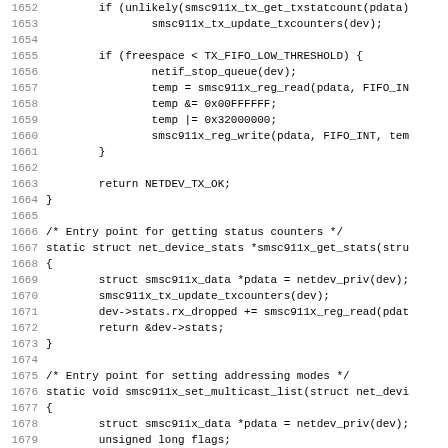[Figure (screenshot): Source code listing (C language) showing lines 1652-1683 of a Linux kernel network driver (smsc911x). Contains functions for TX handling, getting stats, and setting multicast list.]